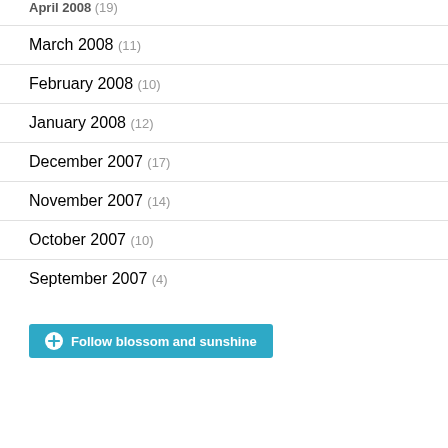April 2008 (19)
March 2008 (11)
February 2008 (10)
January 2008 (12)
December 2007 (17)
November 2007 (14)
October 2007 (10)
September 2007 (4)
Follow blossom and sunshine